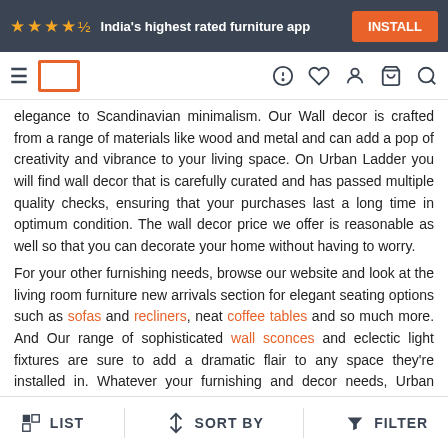★★★★½ India's highest rated furniture app   INSTALL
[Figure (screenshot): Navigation bar with hamburger menu, Urban Ladder logo box, and icons for help, wishlist, account, cart, and search]
elegance to Scandinavian minimalism. Our Wall decor is crafted from a range of materials like wood and metal and can add a pop of creativity and vibrance to your living space. On Urban Ladder you will find wall decor that is carefully curated and has passed multiple quality checks, ensuring that your purchases last a long time in optimum condition. The wall decor price we offer is reasonable as well so that you can decorate your home without having to worry.
For your other furnishing needs, browse our website and look at the living room furniture new arrivals section for elegant seating options such as sofas and recliners, neat coffee tables and so much more. And Our range of sophisticated wall sconces and eclectic light fixtures are sure to add a dramatic flair to any space they're installed in. Whatever your furnishing and decor needs, Urban Ladder is sure to fulfill them.
Related Searches:
Online pictures | Wall Photos | Canvas art | Bed Sheets | Doormats | Bed Designs...
LIST   SORT BY   FILTER